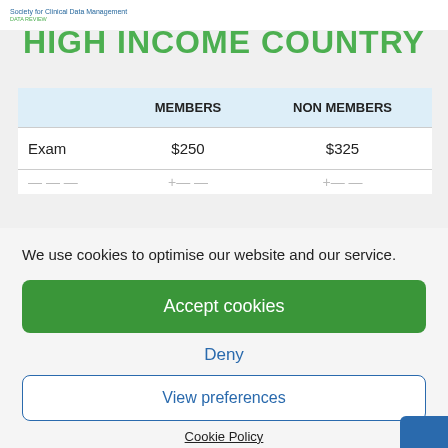Society for Clinical Data Management
HIGH INCOME COUNTRY
|  | MEMBERS | NON MEMBERS |
| --- | --- | --- |
| Exam | $250 | $325 |
| — | — | — |
We use cookies to optimise our website and our service.
Accept cookies
Deny
View preferences
Cookie Policy